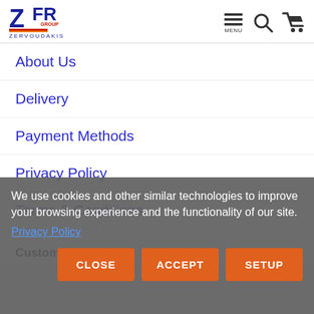[Figure (logo): ZFR Group Zervoudakis logo — blue stylized 'ZFR' letters with red and orange striping, 'GROUP' and 'ZERVOUDAKIS' text below]
[Figure (infographic): Navigation icons: hamburger menu with MENU label, search magnifying glass, shopping cart]
About Us
Delivery
Payment Methods
Privacy Policy
Terms & Conditions
Customer Service
We use cookies and other similar technologies to improve your browsing experience and the functionality of our site.
Privacy Policy
CLOSE  ACCEPT  SETUP